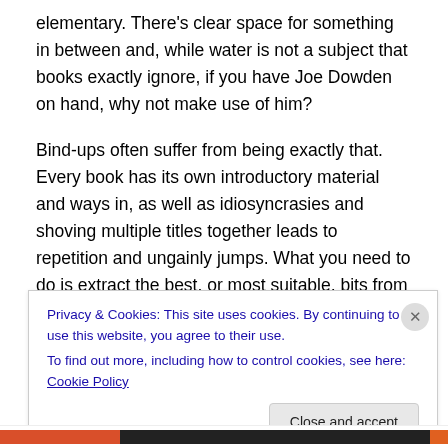elementary. There's clear space for something in between and, while water is not a subject that books exactly ignore, if you have Joe Dowden on hand, why not make use of him?
Bind-ups often suffer from being exactly that. Every book has its own introductory material and ways in, as well as idiosyncrasies and shoving multiple titles together leads to repetition and ungainly jumps. What you need to do is extract the best, or most suitable, bits from each one and then re-originate so that the new work is genuinely new
Privacy & Cookies: This site uses cookies. By continuing to use this website, you agree to their use.
To find out more, including how to control cookies, see here: Cookie Policy